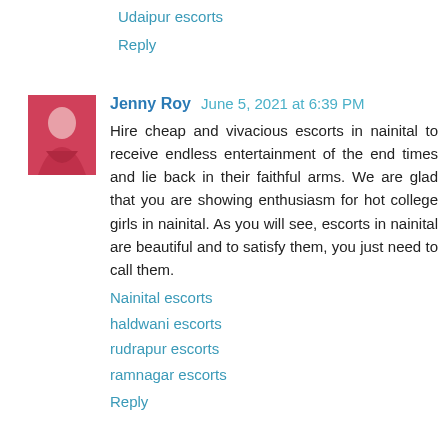Udaipur escorts
Reply
Jenny Roy  June 5, 2021 at 6:39 PM
Hire cheap and vivacious escorts in nainital to receive endless entertainment of the end times and lie back in their faithful arms. We are glad that you are showing enthusiasm for hot college girls in nainital. As you will see, escorts in nainital are beautiful and to satisfy them, you just need to call them.
Nainital escorts
haldwani escorts
rudrapur escorts
ramnagar escorts
Reply
Jenny Roy  June 5, 2021 at 6:41 PM
The team of our gurgaon escort service provides a 24-hour